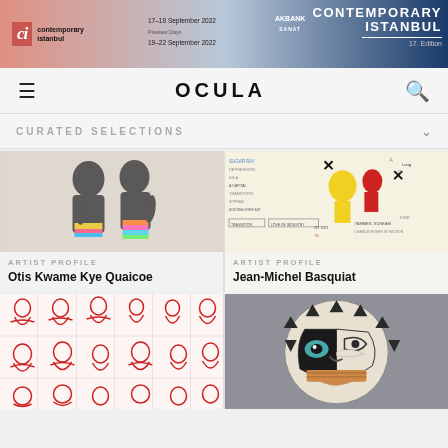[Figure (screenshot): Contemporary Istanbul 2022 promotional banner with ci logo, dates 17-18 September 2022 and 19-22 September 2022, Akbank Sanat sponsor, and Contemporary Istanbul 17. Edition text on blue/dark background]
OCULA
CURATED SELECTIONS
[Figure (photo): Black figurative sculpture of two figures with colorful rainbow-striped shorts, shown from behind]
ARTIST PROFILE
Otis Kwame Kye Quaicoe
[Figure (photo): Jean-Michel Basquiat artwork with handwritten text, yellow figure and colorful paint marks on white background]
ARTIST PROFILE
Jean-Michel Basquiat
[Figure (photo): Grid of red line figure drawings on white background, showing multiple human figures in repeated pattern]
[Figure (photo): Pablo Picasso ceramic plate with black and white stylized face design and green eye on grey background]